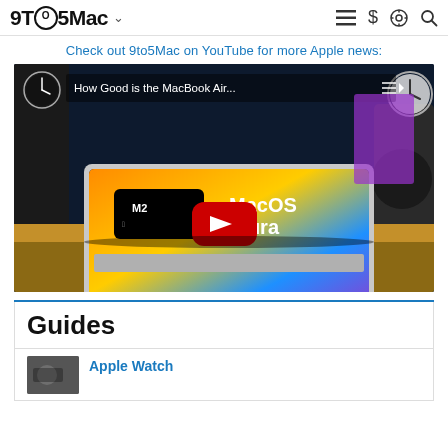9to5Mac
Check out 9to5Mac on YouTube for more Apple news:
[Figure (screenshot): YouTube video thumbnail showing MacBook Air with M2 chip and MacOS Ventura, with red YouTube play button overlay. Title reads 'How Good is the MacBook Air...']
Guides
Apple Watch